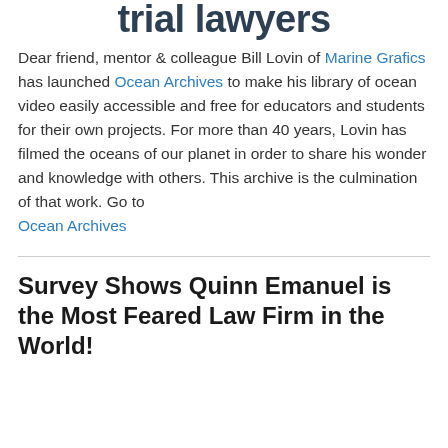trial lawyers
Dear friend, mentor & colleague Bill Lovin of Marine Grafics has launched Ocean Archives to make his library of ocean video easily accessible and free for educators and students for their own projects. For more than 40 years, Lovin has filmed the oceans of our planet in order to share his wonder and knowledge with others. This archive is the culmination of that work. Go to Ocean Archives
Survey Shows Quinn Emanuel is the Most Feared Law Firm in the World!